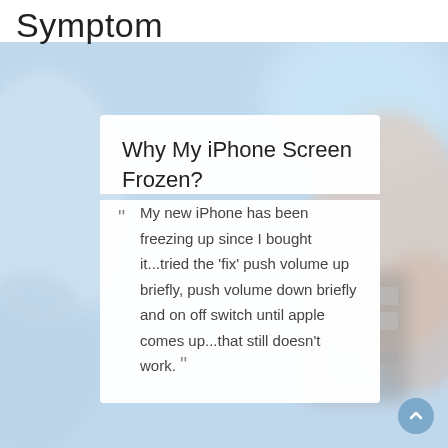Symptom
[Figure (photo): Blurred photo of a hand holding or touching an iPhone, showing the side buttons of the device, with a light blue/white background.]
Why My iPhone Screen Frozen?
“My new iPhone has been freezing up since I bought it...tried the 'fix' push volume up briefly, push volume down briefly and on off switch until apple comes up...that still doesn't work.”